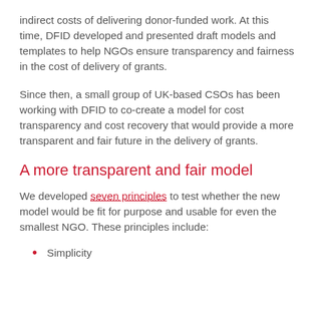indirect costs of delivering donor-funded work. At this time, DFID developed and presented draft models and templates to help NGOs ensure transparency and fairness in the cost of delivery of grants.
Since then, a small group of UK-based CSOs has been working with DFID to co-create a model for cost transparency and cost recovery that would provide a more transparent and fair future in the delivery of grants.
A more transparent and fair model
We developed seven principles to test whether the new model would be fit for purpose and usable for even the smallest NGO. These principles include:
Simplicity